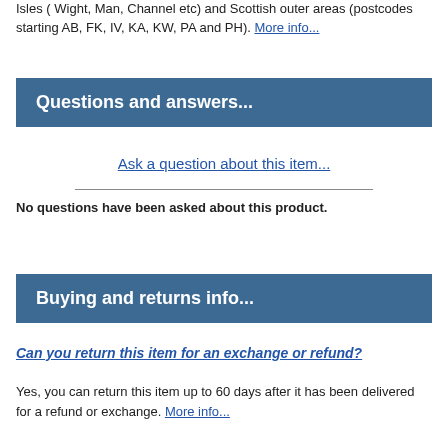Isles ( Wight, Man, Channel etc) and Scottish outer areas (postcodes starting AB, FK, IV, KA, KW, PA and PH). More info...
Questions and answers...
Ask a question about this item...
No questions have been asked about this product.
Buying and returns info...
Can you return this item for an exchange or refund?
Yes, you can return this item up to 60 days after it has been delivered for a refund or exchange. More info...